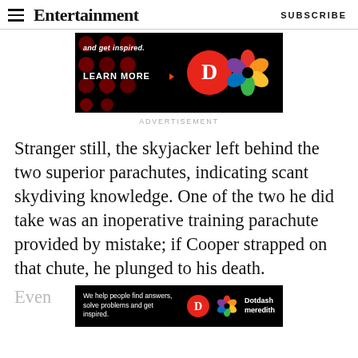Entertainment Weekly | SUBSCRIBE
[Figure (screenshot): Advertisement banner with dark background, red polka dots, 'and get inspired.' text, 'LEARN MORE' button with arrow, and Dotdash Meredith logos (D circle and colorful flower/knot logo)]
ADVERTISEMENT
Stranger still, the skyjacker left behind the two superior parachutes, indicating scant skydiving knowledge. One of the two he did take was an inoperative training parachute provided by mistake; if Cooper strapped on that chute, he plunged to his death.
[Figure (screenshot): Bottom advertisement banner: 'We help people find answers, solve problems and get inspired.' with Dotdash Meredith logo]
Even